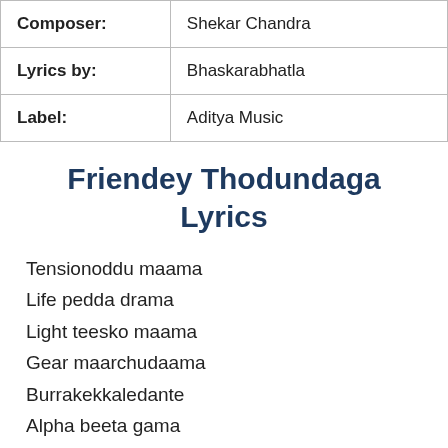| Composer: | Shekar Chandra |
| Lyrics by: | Bhaskarabhatla |
| Label: | Aditya Music |
Friendey Thodundaga Lyrics
Tensionoddu maama
Life pedda drama
Light teesko maama
Gear maarchudaama
Burrakekkaledante
Alpha beeta gama
Books pakkanottesi